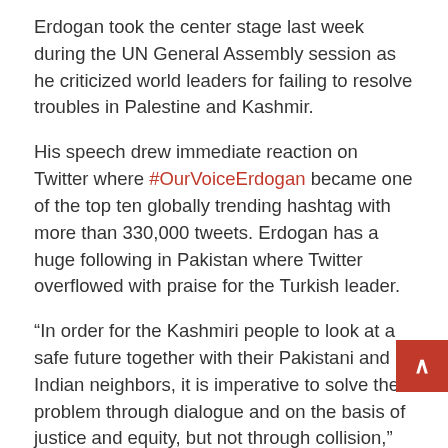Erdogan took the center stage last week during the UN General Assembly session as he criticized world leaders for failing to resolve troubles in Palestine and Kashmir.
His speech drew immediate reaction on Twitter where #OurVoiceErdogan became one of the top ten globally trending hashtag with more than 330,000 tweets. Erdogan has a huge following in Pakistan where Twitter overflowed with praise for the Turkish leader.
“In order for the Kashmiri people to look at a safe future together with their Pakistani and Indian neighbors, it is imperative to solve the problem through dialogue and on the basis of justice and equity, but not through collision,” said Erdogan.
The disputed Kashmir territory is which  divided between Pakistan and India has long been a source of conflict between the two countries.
Prime Minister Imran Khan thanked Erdogan for taking the issue to the UN.